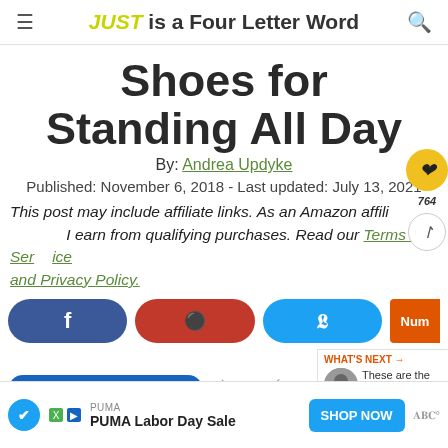JUST is a Four Letter Word
Shoes for Standing All Day
By: Andrea Updyke
Published: November 6, 2018 - Last updated: July 13, 2021
This post may include affiliate links. As an Amazon affili... I earn from qualifying purchases. Read our Terms of Service and Privacy Policy.
[Figure (screenshot): Social share buttons: Facebook, Pinterest, Twitter, orange partial button]
[Figure (screenshot): Side widget with heart icon showing 764, share icon, and What's Next panel with thumbnail and text 'These are the Most...']
[Figure (screenshot): Bottom strip with partial blue button and emoji icons]
[Figure (screenshot): Advertisement banner: PUMA - PUMA Labor Day Sale - SHOP NOW button]